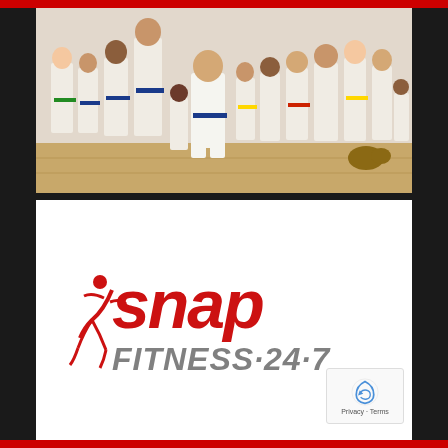[Figure (photo): Group photo of karate students and instructor in white gi uniforms with colored belts (green, blue, yellow, orange) standing in a dojo with wooden floor. An adult instructor is kneeling in the center front.]
[Figure (logo): Snap Fitness 24-7 logo in red and gray on white background, with a stylized running figure icon. Text reads 'snap' in large red letters and 'FITNESS·24·7' in gray below.]